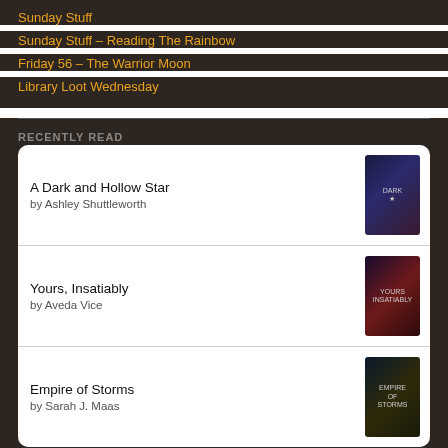Sunday Stuff
Sunday Stuff – Reading The Rainbow
Friday 56 – The Warrior Moon
Library Loot Wednesday
RECENTLY READ
| Title | Author | Cover |
| --- | --- | --- |
| A Dark and Hollow Star | by Ashley Shuttleworth |  |
| Yours, Insatiably | by Aveda Vice |  |
| Empire of Storms | by Sarah J. Maas |  |
Advertisements
[Figure (other): DuckDuckGo advertisement banner: Search, browse, and email with more privacy. All in One Free App. DuckDuckGo logo on dark background.]